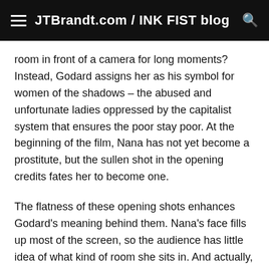JTBrandt.com / INK FIST blog
room in front of a camera for long moments? Instead, Godard assigns her as his symbol for women of the shadows – the abused and unfortunate ladies oppressed by the capitalist system that ensures the poor stay poor. At the beginning of the film, Nana has not yet become a prostitute, but the sullen shot in the opening credits fates her to become one.
The flatness of these opening shots enhances Godard's meaning behind them. Nana's face fills up most of the screen, so the audience has little idea of what kind of room she sits in. And actually, the audience does not even know if she is sitting or